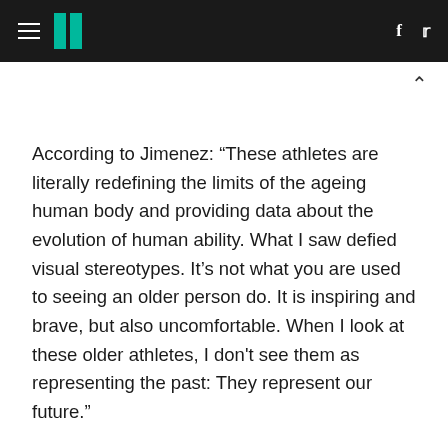HuffPost navigation header with hamburger menu, logo, Facebook and Twitter icons
According to Jimenez: “These athletes are literally redefining the limits of the ageing human body and providing data about the evolution of human ability. What I saw defied visual stereotypes. It’s not what you are used to seeing an older person do. It is inspiring and brave, but also uncomfortable. When I look at these older athletes, I don't see them as representing the past: They represent our future.”
Which brings me to the aforementioned event: